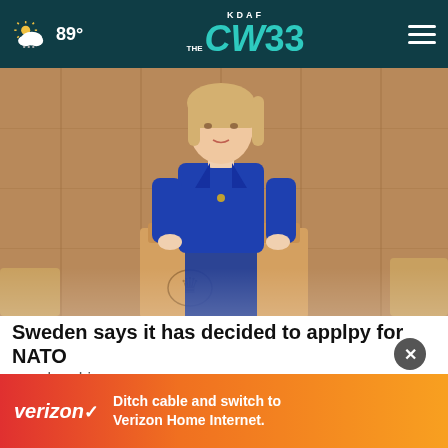KDAF CW33 — 89°
[Figure (photo): A woman in a blue suit stands at a wooden podium with a microphone, speaking in what appears to be a parliament or government chamber. A crown emblem is visible on the front of the podium.]
Sweden says it has decided to applpy for NATO membership
[Figure (other): Verizon advertisement banner: 'Ditch cable and switch to Verizon Home Internet.']